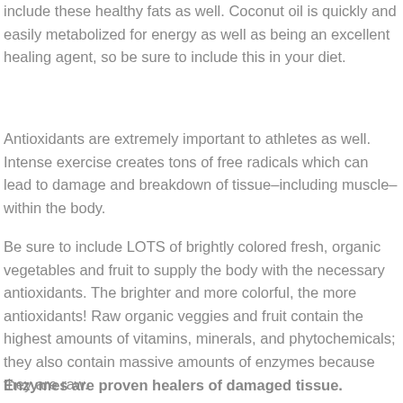include these healthy fats as well. Coconut oil is quickly and easily metabolized for energy as well as being an excellent healing agent, so be sure to include this in your diet.
Antioxidants are extremely important to athletes as well. Intense exercise creates tons of free radicals which can lead to damage and breakdown of tissue–including muscle–within the body.
Be sure to include LOTS of brightly colored fresh, organic vegetables and fruit to supply the body with the necessary antioxidants. The brighter and more colorful, the more antioxidants! Raw organic veggies and fruit contain the highest amounts of vitamins, minerals, and phytochemicals; they also contain massive amounts of enzymes because they are raw.
Enzymes are proven healers of damaged tissue.